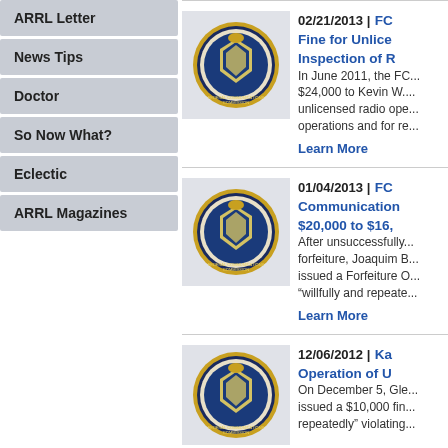ARRL Letter
News Tips
Doctor
So Now What?
Eclectic
ARRL Magazines
[Figure (logo): FCC Federal Communications Commission seal/logo circular badge]
02/21/2013 | FCC Fine for Unlice... Inspection of R... In June 2011, the FC... $24,000 to Kevin W.... unlicensed radio ope... operations and for re...
Learn More
[Figure (logo): FCC Federal Communications Commission seal/logo circular badge]
01/04/2013 | FC... Communication... $20,000 to $16,... After unsuccessfully... forfeiture, Joaquim B... issued a Forfeiture O... "willfully and repeate...
Learn More
[Figure (logo): FCC Federal Communications Commission seal/logo circular badge]
12/06/2012 | Ka... Operation of U... On December 5, Gle... issued a $10,000 fin... repeatedly" violating...